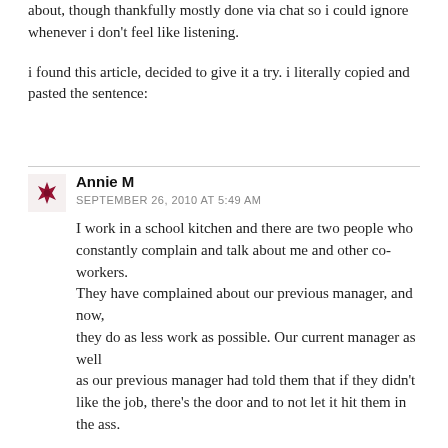about, though thankfully mostly done via chat so i could ignore whenever i don't feel like listening.
i found this article, decided to give it a try. i literally copied and pasted the sentence:
Annie M
SEPTEMBER 26, 2010 AT 5:49 AM
I work in a school kitchen and there are two people who constantly complain and talk about me and other co-workers.
They have complained about our previous manager, and now,
they do as less work as possible. Our current manager as well
as our previous manager had told them that if they didn't like the job, there's the door and to not let it hit them in the ass.